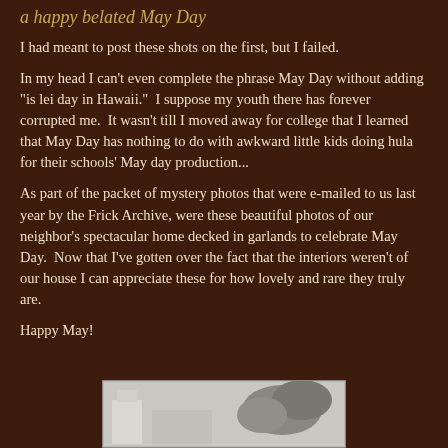a happy belated May Day
I had meant to post these shots on the first, but I failed.
In my head I can't even complete the phrase May Day without adding "is lei day in Hawaii."  I suppose my youth there has forever corrupted me.  It wasn't till I moved away for college that I learned that May Day has nothing to do with awkward little kids doing hula for their schools' May day production...
As part of the packet of mystery photos that were e-mailed to us last year by the Frick Archive, were these beautiful photos of our neighbor's spectacular home decked in garlands to celebrate May Day.  Now that I've gotten over the fact that the interiors weren't of our house I can appreciate these for how lovely and rare they truly are.
Happy May!
[Figure (photo): Black and white photograph of a home decorated with garlands for May Day]